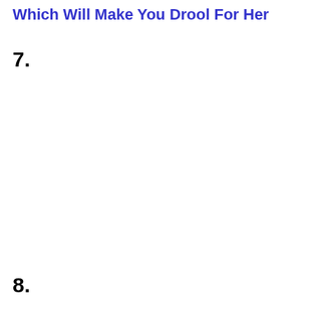Which Will Make You Drool For Her
7.
8.